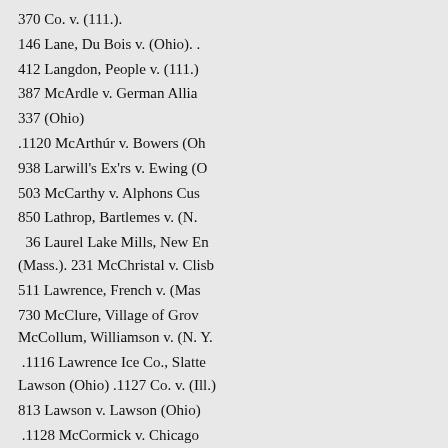370 Co. v. (111.).
146 Lane, Du Bois v. (Ohio). .
412 Langdon, People v. (111.)
387 McArdle v. German Allia
337 (Ohio)
.1120 McArthúr v. Bowers (Oh
938 Larwill's Ex'rs v. Ewing (O
503 McCarthy v. Alphons Cus
850 Lathrop, Bartlemes v. (N.
36 Laurel Lake Mills, New En (Mass.). 231 McChristal v. Clisb
511 Lawrence, French v. (Mas
730 McClure, Village of Grov McCollum, Williamson v. (N. Y.
.1116 Lawrence Ice Co., Slatte Lawson (Ohio) .1127 Co. v. (Ill.)
813 Lawson v. Lawson (Ohio)
.1128 McCormick v. Chicago